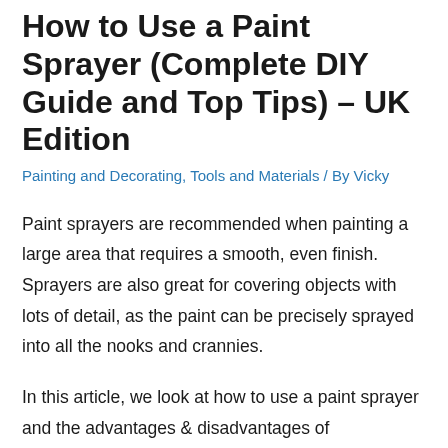How to Use a Paint Sprayer (Complete DIY Guide and Top Tips) – UK Edition
Painting and Decorating, Tools and Materials / By Vicky
Paint sprayers are recommended when painting a large area that requires a smooth, even finish. Sprayers are also great for covering objects with lots of detail, as the paint can be precisely sprayed into all the nooks and crannies.
In this article, we look at how to use a paint sprayer and the advantages & disadvantages of